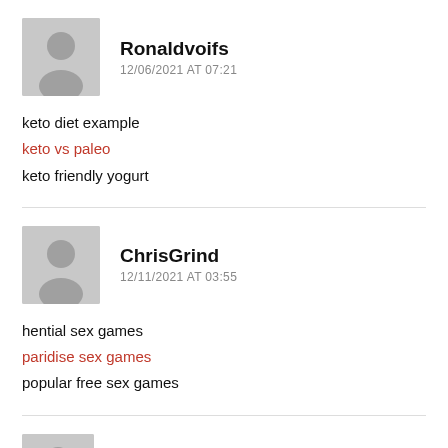Ronaldvoifs
12/06/2021 AT 07:21
keto diet example
keto vs paleo
keto friendly yogurt
ChrisGrind
12/11/2021 AT 03:55
hential sex games
paridise sex games
popular free sex games
MichaelslonS
12/12/2021 AT 00:07